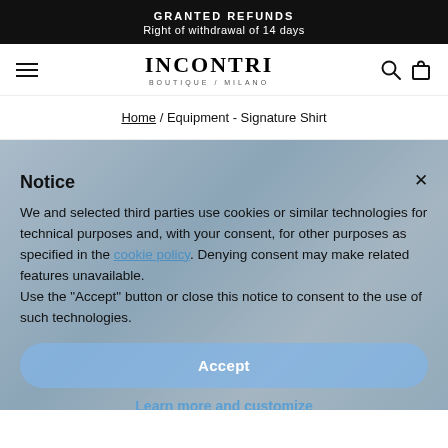GRANTED REFUNDS
Right of withdrawal of 14 days
INCONTRI
boutique / milano
Home / Equipment - Signature Shirt
Notice
We and selected third parties use cookies or similar technologies for technical purposes and, with your consent, for other purposes as specified in the cookie policy. Denying consent may make related features unavailable.
Use the "Accept" button or close this notice to consent to the use of such technologies.
Accept
Learn more and customize